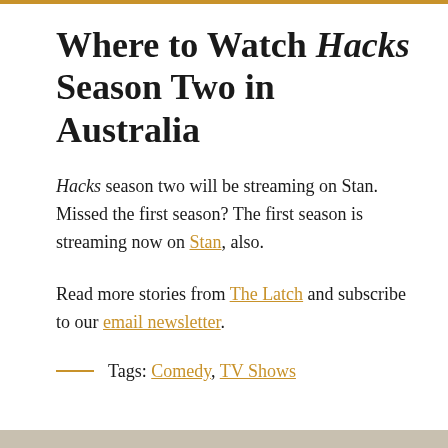Where to Watch Hacks Season Two in Australia
Hacks season two will be streaming on Stan. Missed the first season? The first season is streaming now on Stan, also.
Read more stories from The Latch and subscribe to our email newsletter.
Tags: Comedy, TV Shows